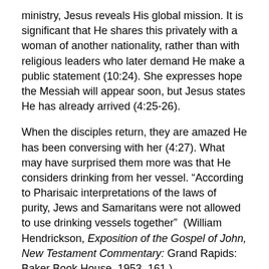ministry, Jesus reveals His global mission. It is significant that He shares this privately with a woman of another nationality, rather than with religious leaders who later demand He make a public statement (10:24). She expresses hope the Messiah will appear soon, but Jesus states He has already arrived (4:25-26).
When the disciples return, they are amazed He has been conversing with her (4:27). What may have surprised them more was that He considers drinking from her vessel. “According to Pharisaic interpretations of the laws of purity, Jews and Samaritans were not allowed to use drinking vessels together”  (William Hendrickson, Exposition of the Gospel of John, New Testament Commentary: Grand Rapids: Baker Book House, 1953, 161.)
Jesus’ conversation with her results in a powerful incentive to witness to others regarding His prophetic insight. She informss some men that Jesus told her everything she had ever done (4:29). Although only brief reference is made concerning her previous husbands, perhaps she feels her life